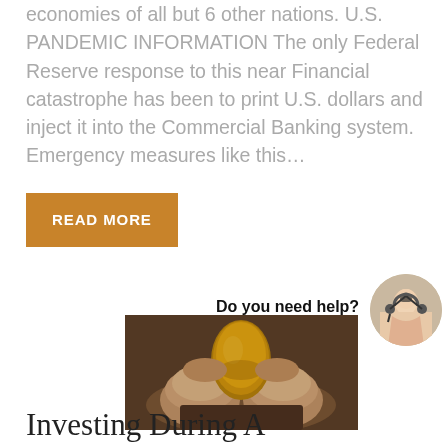economies of all but 6 other nations. U.S. PANDEMIC INFORMATION The only Federal Reserve response to this near Financial catastrophe has been to print U.S. dollars and inject it into the Commercial Banking system. Emergency measures like this…
READ MORE
Do you need help?
[Figure (photo): Circular headshot of a woman wearing a headset, smiling, customer service representative]
[Figure (photo): Hands holding a nest containing a golden egg, symbolizing investment and savings]
Investing During A